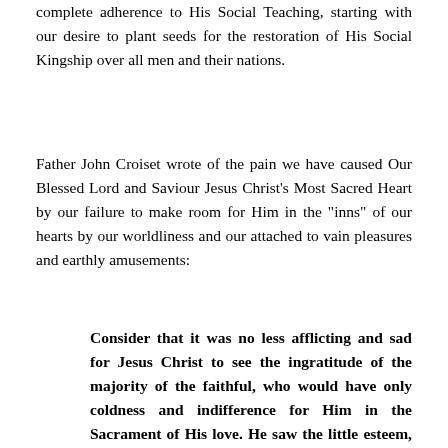complete adherence to His Social Teaching, starting with our desire to plant seeds for the restoration of His Social Kingship over all men and their nations.
Father John Croiset wrote of the pain we have caused Our Blessed Lord and Saviour Jesus Christ's Most Sacred Heart by our failure to make room for Him in the "inns" of our hearts by our worldliness and our attached to vain pleasures and earthly amusements:
Consider that it was no less afflicting and sad for Jesus Christ to see the ingratitude of the majority of the faithful, who would have only coldness and indifference for Him in the Sacrament of His love. He saw the little esteem, nay, even the contempt